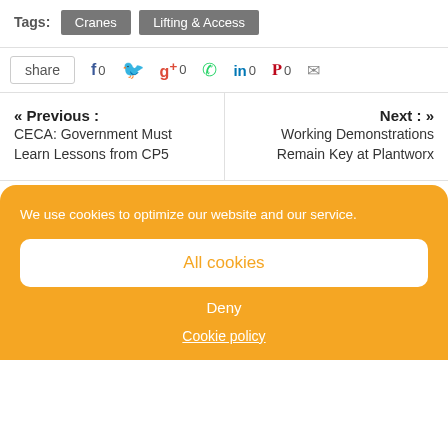Tags: Cranes  Lifting & Access
share  f 0  (twitter)  g+ 0  (whatsapp)  in 0  (pinterest) 0  (email)
« Previous : CECA: Government Must Learn Lessons from CP5
Next : » Working Demonstrations Remain Key at Plantworx
We use cookies to optimize our website and our service.
All cookies
Deny
Cookie policy